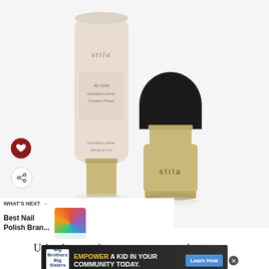[Figure (photo): Stila brand foundation tube and makeup brush with gold packaging on white background]
WHAT'S NEXT → Best Nail Polish Bran...
Using bronzer is an easy way to wake up
[Figure (infographic): Big Brothers Big Sisters advertisement banner: EMPOWER A KID IN YOUR COMMUNITY TODAY. Learn How]